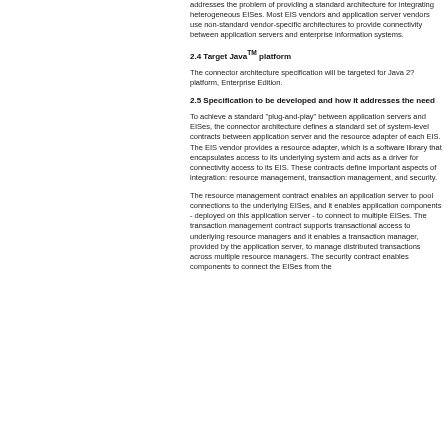addresses the problem of providing a standard architecture for integrating heterogeneous EISes. Most EIS vendors and application server vendors use non-standard vendor-specific architectures to provide connectivity between application servers and enterprise information systems.
2.4 Target Java™ platform
The connector architecture specification will be targeted for Java 2? platform, Enterprise Edition.
2.5 Specification to be developed and how it addresses the need
To achieve a standard "plug-and-play" between application servers and EISes, the connector architecture defines a standard set of system-level contracts between application server and the resource adapter of each EIS. The EIS vendor provides a resource adapter, which is a software library that encapsulates access to its underlying system and acts as a driver for connectivity access to its EIS. These contracts define important aspects of integration: resource management, transaction management, and security.
The resource management contract enables an application server to pool connections to the underlying EISes, and it enables application components - deployed on this application server - to connect to multiple EISes. The transaction management contract supports transactional access to underlying resource managers and it enables a transaction manager, provided by the application server, to manage distributed transactions across multiple resource managers. The security contract enables components to connect the EISes from the